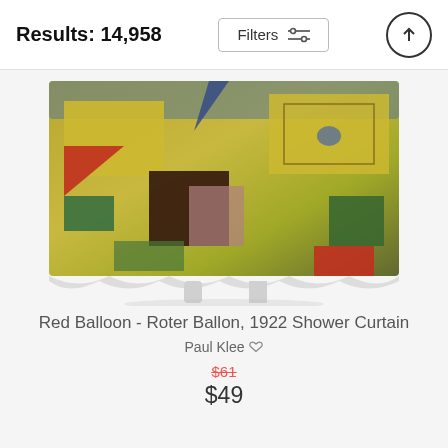Results: 14,958
[Figure (screenshot): A shower curtain product displayed on a stand, featuring Paul Klee's abstract geometric painting with yellow, red, green, brown and blue rectangular shapes]
Red Balloon - Roter Ballon, 1922 Shower Curtain
Paul Klee
$61
$49